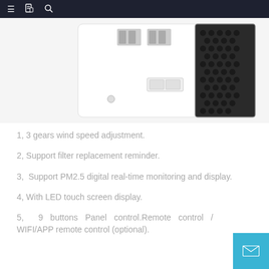Navigation bar with menu, bookmark, and search icons
[Figure (photo): Air purifier product photo showing the back panel with connectors and a black HEPA filter panel beside a white unit body]
1, 3 gears wind speed adjustment.
2, Support filter replacement reminder.
3, Support PM2.5 digital real-time monitoring and display.
4, With LED touch screen display.
5, 9 buttons Panel control.Remote control / WIFI/APP remote control (optional).